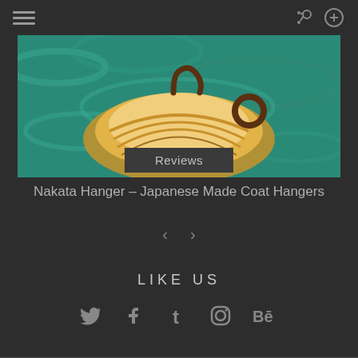[Figure (screenshot): Hamburger menu icon (three horizontal lines) on dark background, top left navigation]
[Figure (screenshot): Share and Search icons on dark background, top right navigation]
[Figure (photo): Close-up photo of a decorative golden coat hanger against a teal/green background]
Reviews
Nakata Hanger – Japanese Made Coat Hangers
[Figure (infographic): Left and right navigation arrow buttons]
LIKE US
[Figure (infographic): Social media icons: Twitter, Facebook, Tumblr, Instagram, Behance]